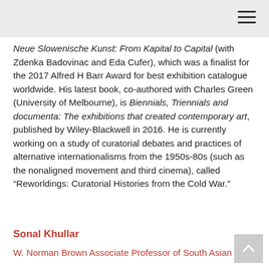Neue Slowenische Kunst: From Kapital to Capital (with Zdenka Badovinac and Eda Cufer), which was a finalist for the 2017 Alfred H Barr Award for best exhibition catalogue worldwide. His latest book, co-authored with Charles Green (University of Melbourne), is Biennials, Triennials and documenta: The exhibitions that created contemporary art, published by Wiley-Blackwell in 2016. He is currently working on a study of curatorial debates and practices of alternative internationalisms from the 1950s-80s (such as the nonaligned movement and third cinema), called “Reworldings: Curatorial Histories from the Cold War.”
Sonal Khullar
W. Norman Brown Associate Professor of South Asian